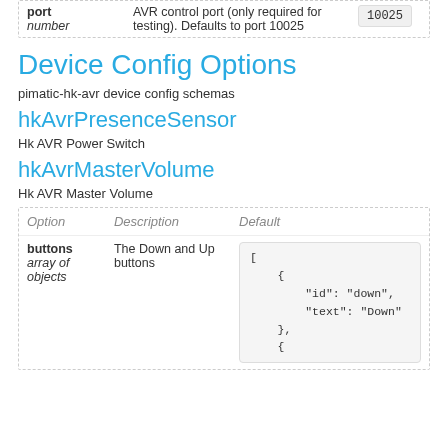| Option | Description | Default |
| --- | --- | --- |
| port
number | AVR control port (only required for testing). Defaults to port 10025 | 10025 |
Device Config Options
pimatic-hk-avr device config schemas
hkAvrPresenceSensor
Hk AVR Power Switch
hkAvrMasterVolume
Hk AVR Master Volume
| Option | Description | Default |
| --- | --- | --- |
| buttons
array of objects | The Down and Up buttons | [
    {
        "id": "down",
        "text": "Down"
    },
    { |